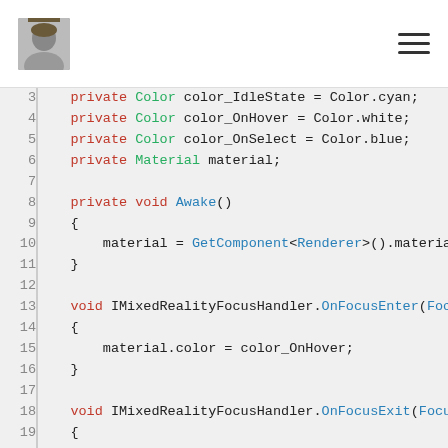[avatar image] [hamburger menu]
Code snippet showing C# Unity script with IMixedReality handlers, lines 3-23
3    private Color color_IdleState = Color.cyan;
4    private Color color_OnHover = Color.white;
5    private Color color_OnSelect = Color.blue;
6    private Material material;
7
8    private void Awake()
9    {
10       material = GetComponent<Renderer>().material;
11   }
12
13   void IMixedRealityFocusHandler.OnFocusEnter(FocusEventD...
14   {
15       material.color = color_OnHover;
16   }
17
18   void IMixedRealityFocusHandler.OnFocusExit(FocusEventDa...
19   {
20       material.color = color_IdleState;
21   }
22
23   void IMixedRealityPointerHandler.OnPointerDown(